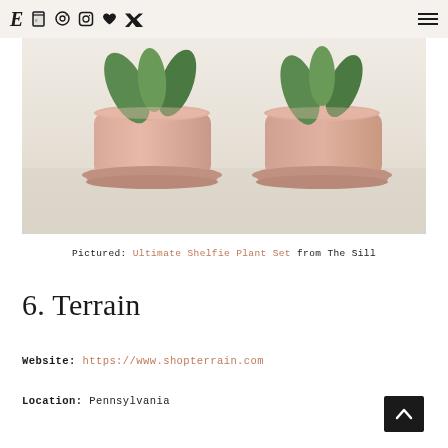E [notebook icon] P [instagram icon] [heart icon] [twitter icon] [hamburger menu]
[Figure (photo): Two pink terracotta plant pots with saucers and green leaves visible at the top, on a light beige/cream surface. Photo is cropped showing mainly the pot bodies and saucers.]
Pictured: Ultimate Shelfie Plant Set from The Sill
6. Terrain
Website: https://www.shopterrain.com
Location: Pennsylvania